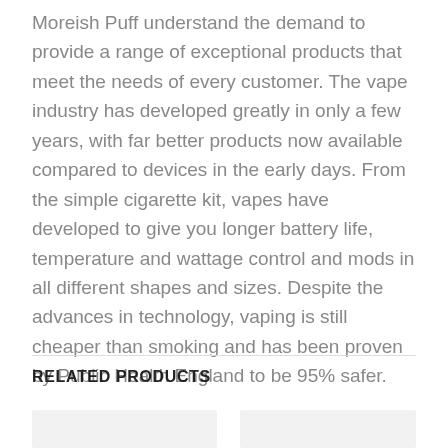Moreish Puff understand the demand to provide a range of exceptional products that meet the needs of every customer. The vape industry has developed greatly in only a few years, with far better products now available compared to devices in the early days. From the simple cigarette kit, vapes have developed to give you longer battery life, temperature and wattage control and mods in all different shapes and sizes. Despite the advances in technology, vaping is still cheaper than smoking and has been proven by Public Health England to be 95% safer.
RELATED PRODUCTS